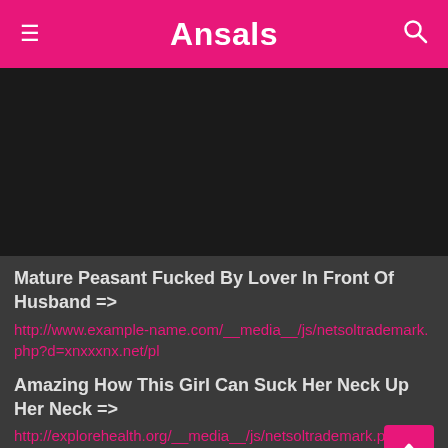Ansals
[Figure (other): Dark/black video player area]
Mature Peasant Fucked By Lover In Front Of Husband =>
http://www.example-name.com/__media__/js/netsoltrademark.php?d=xnxxxnx.net/pl
Amazing How This Girl Can Suck Her Neck Up Her Neck =>
http://explorehealth.org/__media__/js/netsoltrademark.php?d=xnxxxnx.net/video/693